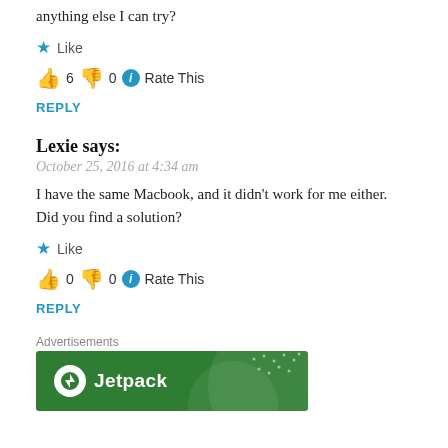anything else I can try?
Like
👍 6 👎 0 ℹ Rate This
REPLY
Lexie says:
October 25, 2016 at 4:34 am
I have the same Macbook, and it didn't work for me either. Did you find a solution?
Like
👍 0 👎 0 ℹ Rate This
REPLY
Advertisements
[Figure (logo): Jetpack advertisement banner with green background and Jetpack logo]